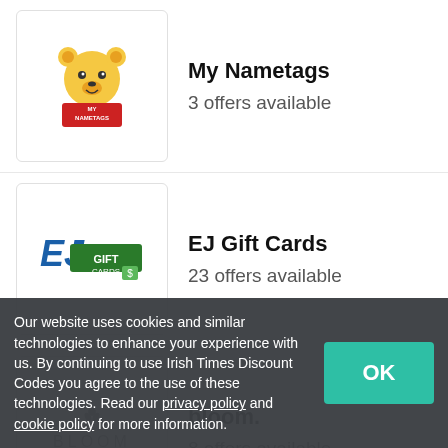My Nametags — 3 offers available
EJ Gift Cards — 23 offers available
bloom. — 8 offers available
Sport Pursuit — 39 offers available
MyHeritage — offers available (partially visible)
Our website uses cookies and similar technologies to enhance your experience with us. By continuing to use Irish Times Discount Codes you agree to the use of these technologies. Read our privacy policy and cookie policy for more information.